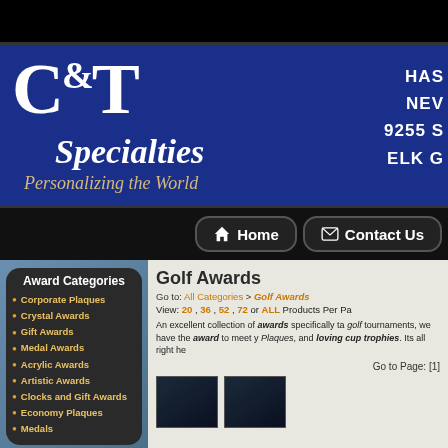[Figure (logo): C&T Specialties logo banner with blue background, large white serif C&T text, italic white Specialties, golden italic tagline 'Personalizing the World', and partial address info on right]
Home | Contact Us navigation bar
Award Categories
Corporate Plaques
Crystal Awards
Gift Awards
Medal Awards
Acrylic Awards
Artistic Awards
Clocks and Gift Awards
Economy Plaques
Medals
Golf Awards
Go to: All Categories > Golf Awards
View: 20 , 36 , 52 , 72 or ALL Products Per Pa
An excellent collection of awards specifically ta golf tournaments, we have the award to meet y Plaques, and loving cup trophies. Its all right he
Go to Page: [1]